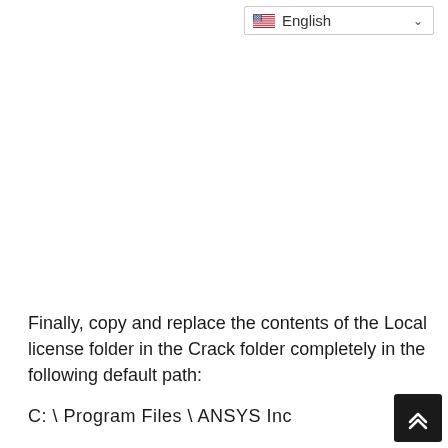English
Finally, copy and replace the contents of the Local license folder in the Crack folder completely in the following default path:
C: \ Program Files \ ANSYS Inc